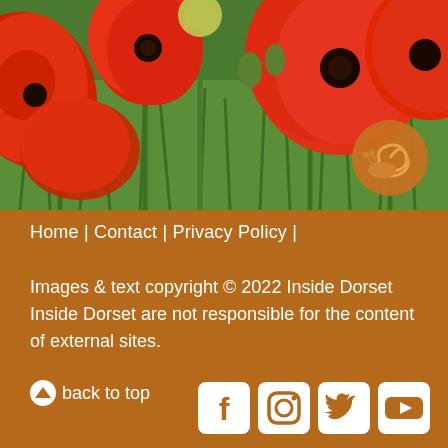[Figure (photo): Red poppies in a green field, with an orange circular logo/badge in the lower right of the image]
Home | Contact | Privacy Policy |
Images & text copyright © 2022 Inside Dorset Inside Dorset are not responsible for the content of external sites.
⬆ back to top
[Figure (infographic): Social media icons: Facebook, Instagram, Twitter, YouTube]